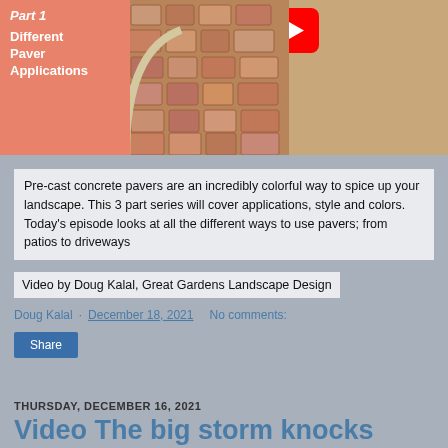[Figure (screenshot): Video thumbnail showing paver application. Left side has salmon/orange background with white bold italic text 'Part 1' and 'Different Paver Applications'. Right side shows a photo of brick pavers with a blue pot plant and a YouTube play button icon overlay.]
Pre-cast concrete pavers are an incredibly colorful way to spice up your landscape.  This 3 part series will cover applications, style and colors.  Today's episode looks at all the different ways to use pavers; from patios to driveways
Video by Doug Kalal, Great Gardens Landscape Design
Doug Kalal · December 18, 2021    No comments:
Share
THURSDAY, DECEMBER 16, 2021
Video  The big storm knocks over my